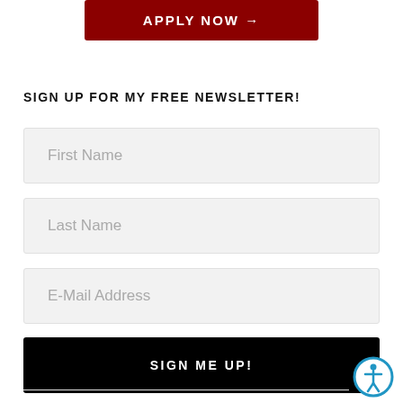[Figure (other): Dark red button with text APPLY NOW and arrow]
SIGN UP FOR MY FREE NEWSLETTER!
First Name
Last Name
E-Mail Address
SIGN ME UP!
[Figure (illustration): Accessibility icon — person in circle with blue border]